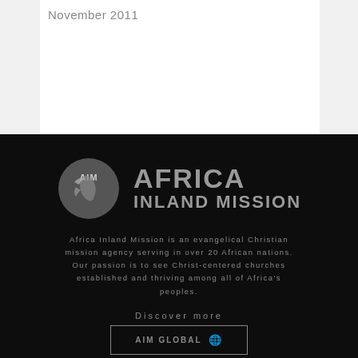November 2011
[Figure (logo): Africa Inland Mission logo: circular AIM logo mark on the left, with 'AFRICA INLAND MISSION' text on the right in bold grey letters on black background]
Africa Inland Mission is an evangelical Christian mission agency serving in over 20 African nations. Our passion is to see Christ-centered churches established and thriving among all of Africa's peoples.
Discover more
AIM GLOBAL